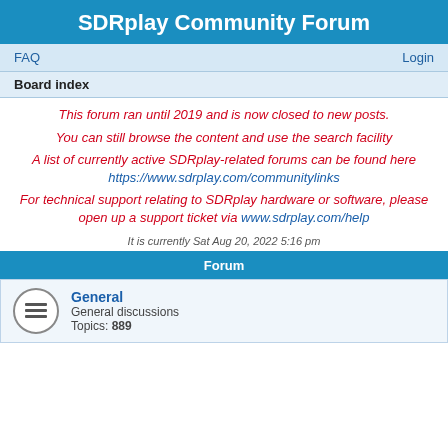SDRplay Community Forum
FAQ    Login
Board index
This forum ran until 2019 and is now closed to new posts.
You can still browse the content and use the search facility
A list of currently active SDRplay-related forums can be found here https://www.sdrplay.com/communitylinks
For technical support relating to SDRplay hardware or software, please open up a support ticket via www.sdrplay.com/help
It is currently Sat Aug 20, 2022 5:16 pm
Forum
General
General discussions
Topics: 889